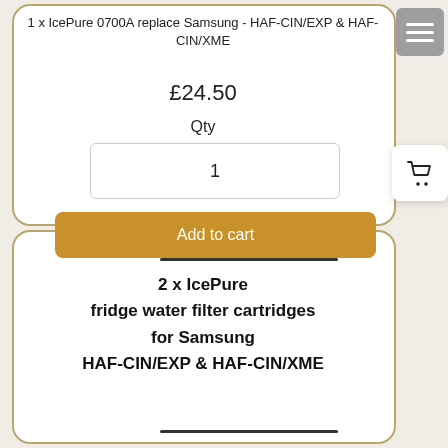1 x IcePure 0700A replace Samsung - HAF-CIN/EXP & HAF-CIN/XME
£24.50
Qty
1
Add to cart
2 x IcePure fridge water filter cartridges for Samsung HAF-CIN/EXP & HAF-CIN/XME